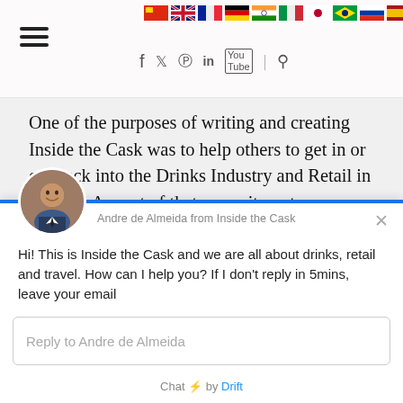[Figure (screenshot): Website header with hamburger menu, country flag icons (China, UK, France, Germany, India, Italy, Japan, Brazil, Russia, Spain), and social media icons (Facebook, Twitter, Instagram, LinkedIn, YouTube, Search)]
One of the purposes of writing and creating Inside the Cask was to help others to get in or get back into the Drinks Industry and Retail in general. As part of that commitment, every time I come across a job opening advertised in the public domain I will add it to this page.
[Figure (screenshot): Chat widget from Drift showing Andre de Almeida from Inside the Cask with avatar photo, message: Hi! This is Inside the Cask and we are all about drinks, retail and travel. How can I help you? If I don't reply in 5mins, leave your email. Reply input box and Chat by Drift footer.]